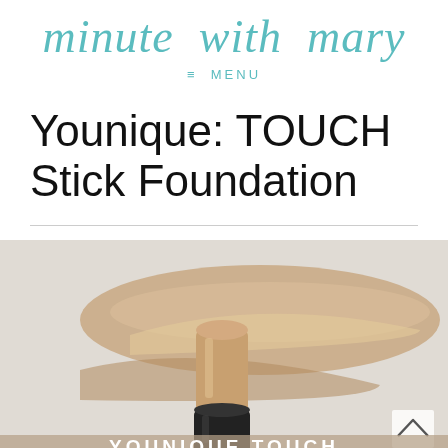minute with mary
≡ MENU
Younique: TOUCH Stick Foundation
[Figure (photo): Product photo of Younique TOUCH Stick Foundation showing a beige/tan foundation stick with a black cap, surrounded by smeared foundation swatches in light and medium beige tones against a light grey background. Text 'YOUNIQUE TOUCH' is visible at the bottom of the image.]